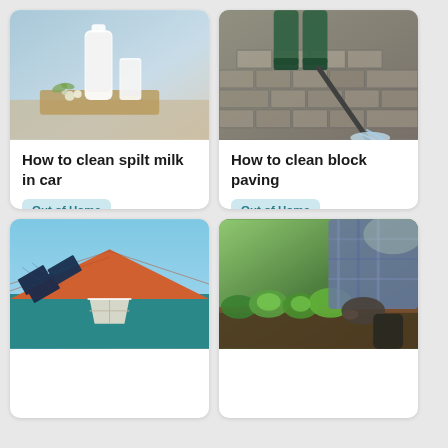[Figure (photo): Milk bottle and glass of milk on a burlap mat with flowers, light blue background]
How to clean spilt milk in car
Out of Home
[Figure (photo): Person in green rubber boots power washing brick paving]
How to clean block paving
Out of Home
[Figure (photo): Solar panels on a roof of a teal house with orange trim against blue sky]
[Figure (photo): Person with gloves gardening, planting green leafy vegetables in a raised bed]